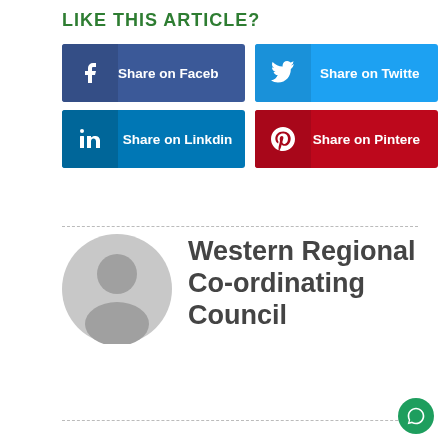LIKE THIS ARTICLE?
[Figure (infographic): Four social share buttons: Share on Facebook (dark blue), Share on Twitter (light blue), Share on Linkdin (medium blue), Share on Pinterest (dark red), each with platform icon on left and text label on right.]
[Figure (illustration): Gray circular avatar/profile placeholder icon representing a person silhouette.]
Western Regional Co-ordinating Council